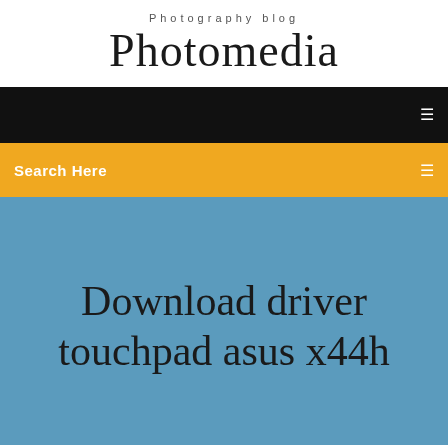Photography blog
Photomedia
[Figure (other): Black navigation bar with a small icon on the right]
[Figure (other): Yellow/amber search bar with 'Search Here' text on the left and a small icon on the right]
Download driver touchpad asus x44h